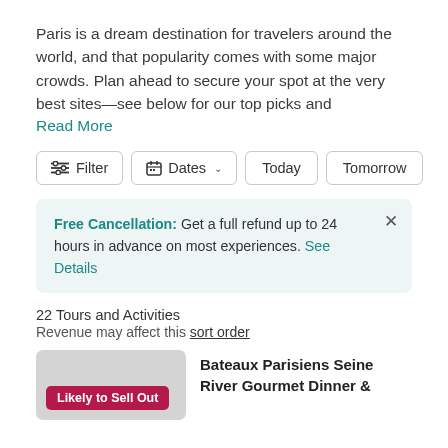Paris is a dream destination for travelers around the world, and that popularity comes with some major crowds. Plan ahead to secure your spot at the very best sites—see below for our top picks and
Read More
Filter  Dates  Today  Tomorrow
Free Cancellation: Get a full refund up to 24 hours in advance on most experiences. See Details
22 Tours and Activities
Revenue may affect this sort order
Likely to Sell Out
Bateaux Parisiens Seine River Gourmet Dinner &